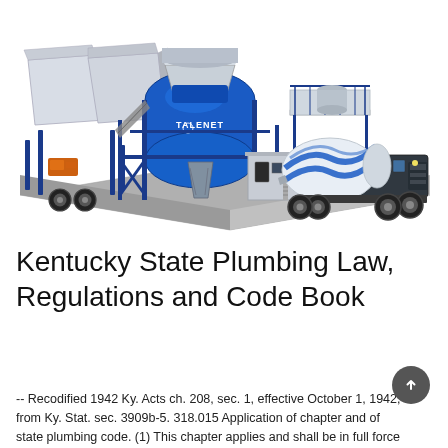[Figure (illustration): 3D rendered illustration of a TALENET branded mobile concrete batching plant with aggregate bins, a blue mixing drum/tower, a control cabin, and a concrete mixer truck parked beside it on a grey platform.]
Kentucky State Plumbing Law, Regulations and Code Book
-- Recodified 1942 Ky. Acts ch. 208, sec. 1, effective October 1, 1942, from Ky. Stat. sec. 3909b-5. 318.015 Application of chapter and of state plumbing code. (1) This chapter applies and shall be in full force and effect...